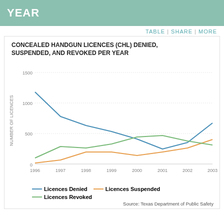YEAR
TABLE | SHARE | MORE
CONCEALED HANDGUN LICENCES (CHL) DENIED, SUSPENDED, AND REVOKED PER YEAR
[Figure (line-chart): Concealed Handgun Licences (CHL) Denied, Suspended, and Revoked Per Year]
— Licences Denied  — Licences Suspended  — Licences Revoked
Source: Texas Department of Public Safety